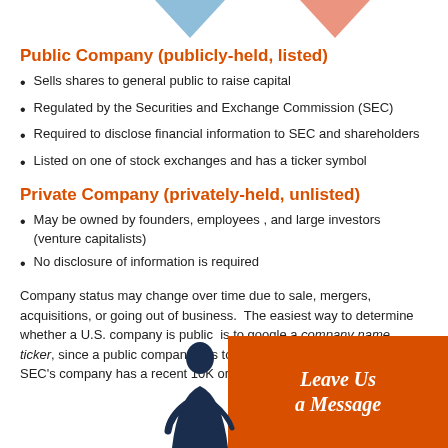[Figure (illustration): Decorative triangles at top: blue pointing down on left, red/salmon pointing down on right]
Public Company (publicly-held, listed)
Sells shares to general public to raise capital
Regulated by the Securities and Exchange Commission (SEC)
Required to disclose financial information to SEC and shareholders
Listed on one of stock exchanges and has a ticker symbol
Private Company (privately-held, unlisted)
May be owned by founders, employees , and large investors (venture capitalists)
No disclosure of information is required
Company status may change over time due to sale, mergers, acquisitions, or going out of business.  The easiest way to determine whether a U.S. company is public  is to google a company name ticker, since a public company has to confirm the current status using SEC's company has a recent 10K or 10Q.
[Figure (illustration): Orange banner with silhouette of person and cursive text 'Leave Us a Message']